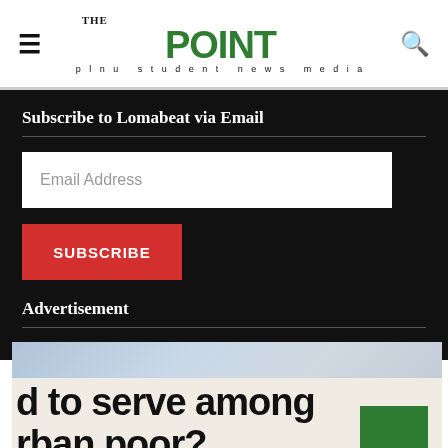THE POINT — plnu student news media
Subscribe to Lomabeat via Email
Email Address
SUBSCRIBE
Advertisement
[Figure (screenshot): Advertisement image showing partial article headline text: 'd to serve among rban poor?' with a blue-grey sky background and a green Point logo box in corner]